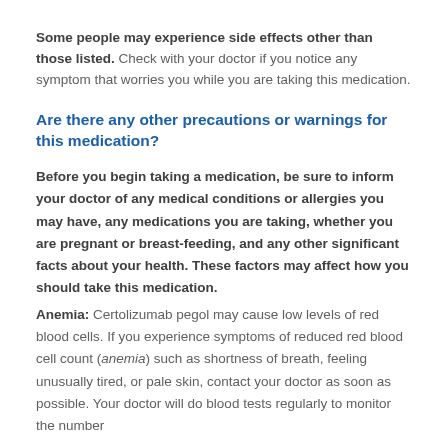Some people may experience side effects other than those listed. Check with your doctor if you notice any symptom that worries you while you are taking this medication.
Are there any other precautions or warnings for this medication?
Before you begin taking a medication, be sure to inform your doctor of any medical conditions or allergies you may have, any medications you are taking, whether you are pregnant or breast-feeding, and any other significant facts about your health. These factors may affect how you should take this medication.
Anemia: Certolizumab pegol may cause low levels of red blood cells. If you experience symptoms of reduced red blood cell count (anemia) such as shortness of breath, feeling unusually tired, or pale skin, contact your doctor as soon as possible. Your doctor will do blood tests regularly to monitor the number